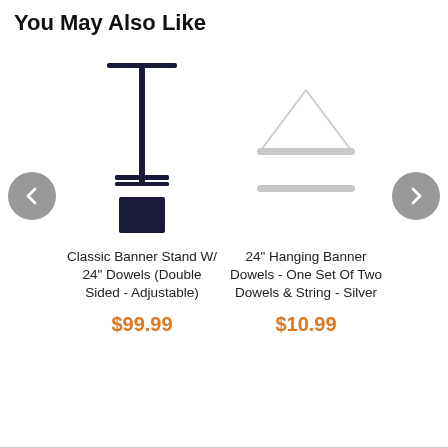You May Also Like
[Figure (photo): Classic Banner Stand with T-bar top and square base, dark navy/black metal stand with adjustable crossbar]
Classic Banner Stand W/ 24" Dowels (Double Sided - Adjustable)
$99.99
[Figure (photo): 24 inch hanging banner dowels - two silver metal rods with triangle string arrangement, silver color]
24" Hanging Banner Dowels - One Set Of Two Dowels & String - Silver
$10.99